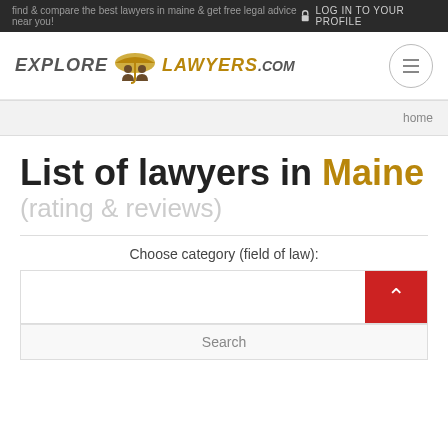find & compare the best lawyers in maine & get free legal advice near you!
LOG IN TO YOUR PROFILE
[Figure (logo): ExploreLawyers.com logo with umbrella and two person icons]
home
List of lawyers in Maine (rating & reviews)
Choose category (field of law):
Search